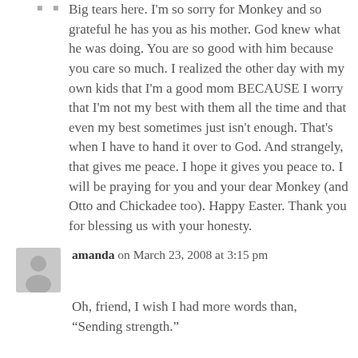Big tears here. I'm so sorry for Monkey and so grateful he has you as his mother. God knew what he was doing. You are so good with him because you care so much. I realized the other day with my own kids that I'm a good mom BECAUSE I worry that I'm not my best with them all the time and that even my best sometimes just isn't enough. That's when I have to hand it over to God. And strangely, that gives me peace. I hope it gives you peace to. I will be praying for you and your dear Monkey (and Otto and Chickadee too). Happy Easter. Thank you for blessing us with your honesty.
amanda on March 23, 2008 at 3:15 pm
Oh, friend, I wish I had more words than, “Sending strength.”